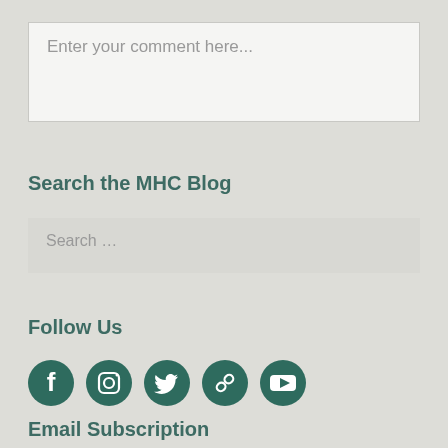Enter your comment here...
Search the MHC Blog
Search …
Follow Us
[Figure (illustration): Five social media icons in dark teal: Facebook, Instagram, Twitter, chain link, YouTube]
Email Subscription